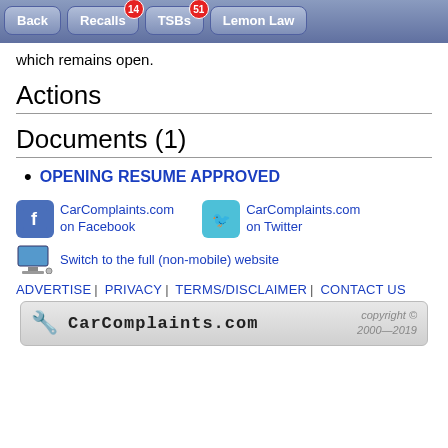Back | Recalls 14 | TSBs 51 | Lemon Law
which remains open.
Actions
Documents (1)
OPENING RESUME APPROVED
CarComplaints.com on Facebook
CarComplaints.com on Twitter
Switch to the full (non-mobile) website
ADVERTISE | PRIVACY | TERMS/DISCLAIMER | CONTACT US
CarComplaints.com copyright © 2000—2019